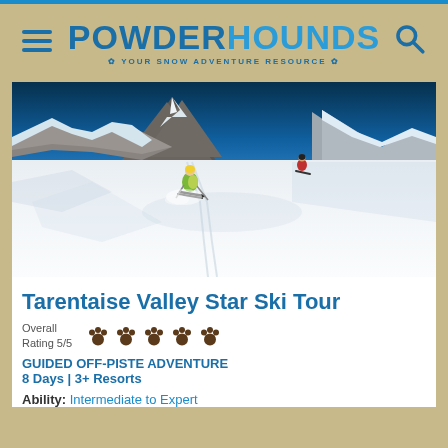POWDERHOUNDS - YOUR SNOW ADVENTURE RESOURCE
[Figure (photo): Two skiers descending a steep snowy backcountry slope with rocky mountain peaks under a deep blue sky]
Tarentaise Valley Star Ski Tour
Overall Rating 5/5 (5 paw icons)
GUIDED OFF-PISTE ADVENTURE
8 Days | 3+ Resorts
Ability: Intermediate to Expert